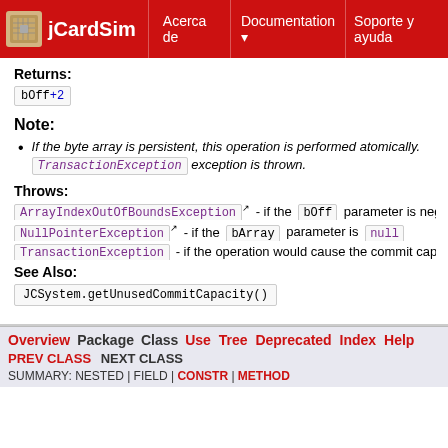jCardSim | Acerca de | Documentation | Soporte y ayuda
Returns:
bOff+2
Note:
If the byte array is persistent, this operation is performed atomically. TransactionException exception is thrown.
Throws:
ArrayIndexOutOfBoundsException - if the bOff parameter is nega
NullPointerException - if the bArray parameter is null
TransactionException - if the operation would cause the commit capa
See Also:
JCSystem.getUnusedCommitCapacity()
Overview Package Class Use Tree Deprecated Index Help | PREV CLASS NEXT CLASS | SUMMARY: NESTED | FIELD | CONSTR | METHOD